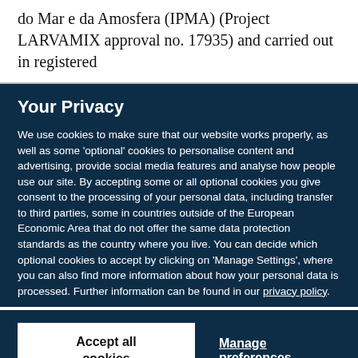do Mar e da Amosfera (IPMA) (Project LARVAMIX approval no. 17935) and carried out in registered
Your Privacy
We use cookies to make sure that our website works properly, as well as some ‘optional’ cookies to personalise content and advertising, provide social media features and analyse how people use our site. By accepting some or all optional cookies you give consent to the processing of your personal data, including transfer to third parties, some in countries outside of the European Economic Area that do not offer the same data protection standards as the country where you live. You can decide which optional cookies to accept by clicking on ‘Manage Settings’, where you can also find more information about how your personal data is processed. Further information can be found in our privacy policy.
Accept all cookies
Manage preferences